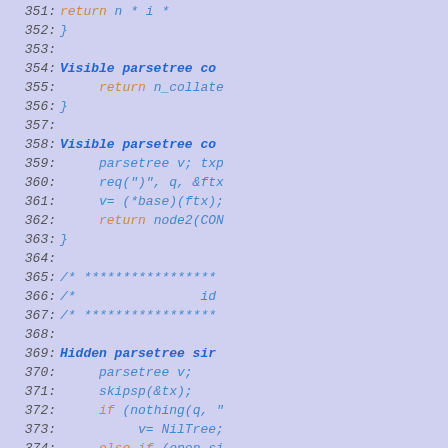[Figure (screenshot): Source code listing showing lines 351-381 of a parser implementation. Left portion is a blank lavender region; right portion shows line numbers and code in blue/orange monospace italic font on a light blue-purple background.]